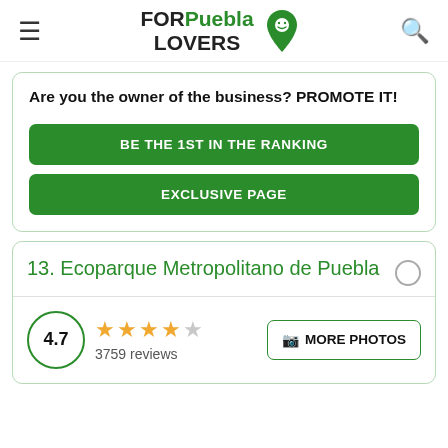FOR Puebla LOVERS
Are you the owner of the business? PROMOTE IT!
BE THE 1ST IN THE RANKING
EXCLUSIVE PAGE
13. Ecoparque Metropolitano de Puebla
4.7 ★★★★☆ 3759 reviews MORE PHOTOS